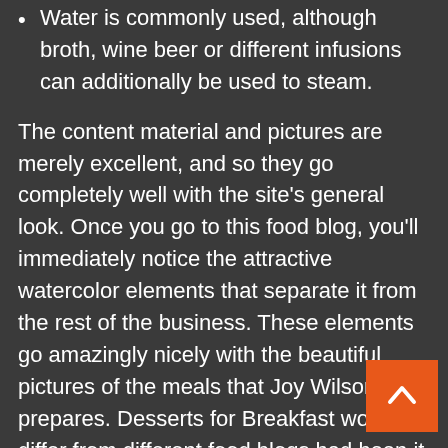Water is commonly used, although broth, wine beer or different infusions can additionally be used to steam.
The content material and pictures are merely excellent, and so they go completely well with the site's general look. Once you go to this food blog, you'll immediately notice the attractive watercolor elements that separate it from the rest of the business. These elements go amazingly nicely with the beautiful pictures of the meals that Joy Wilson prepares. Desserts for Breakfast wouldn't differ from different food blogs had been it not for its happy and quirky design, coupled with astounding pictures.
Menu Design is an omnibus showcasing the most effective examples of this graphic artwork. With almost 800 examples, illustrated in vibrant shade, this